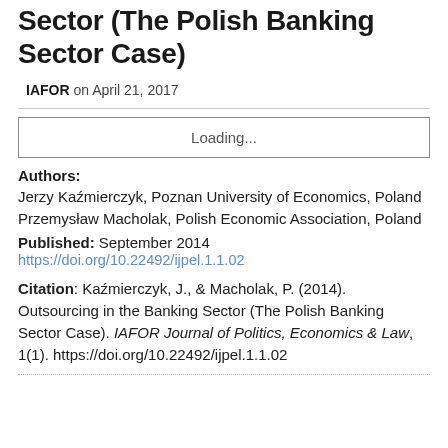Sector (The Polish Banking Sector Case)
IAFOR on April 21, 2017
[Figure (other): Loading... placeholder box]
Authors:
Jerzy Kaźmierczyk, Poznan University of Economics, Poland
Przemysław Macholak, Polish Economic Association, Poland
Published: September 2014
https://doi.org/10.22492/ijpel.1.1.02
Citation: Kaźmierczyk, J., & Macholak, P. (2014). Outsourcing in the Banking Sector (The Polish Banking Sector Case). IAFOR Journal of Politics, Economics & Law, 1(1). https://doi.org/10.22492/ijpel.1.1.02